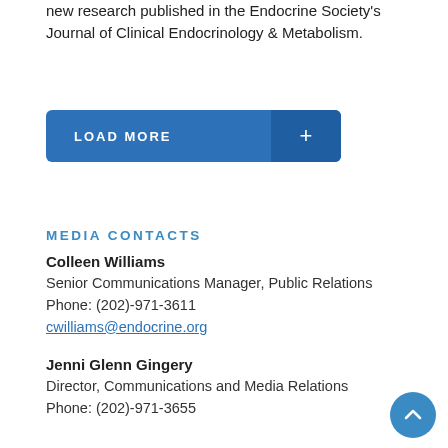new research published in the Endocrine Society's Journal of Clinical Endocrinology & Metabolism.
[Figure (other): A blue 'LOAD MORE +' button with a darker blue right section containing a plus sign]
MEDIA CONTACTS
Colleen Williams
Senior Communications Manager, Public Relations
Phone: (202)-971-3611
cwilliams@endocrine.org
Jenni Glenn Gingery
Director, Communications and Media Relations
Phone: (202)-971-3655